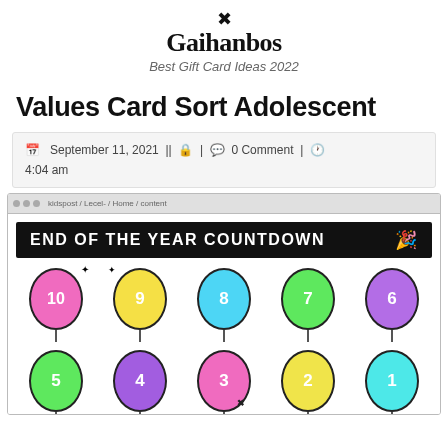Gaihanbos — Best Gift Card Ideas 2022
Values Card Sort Adolescent
September 11, 2021 || 🔒 | 💬 0 Comment | 🕓 4:04 am
[Figure (screenshot): Browser screenshot showing 'END OF THE YEAR COUNTDOWN' graphic with colorful numbered balloons from 10 down to 1]